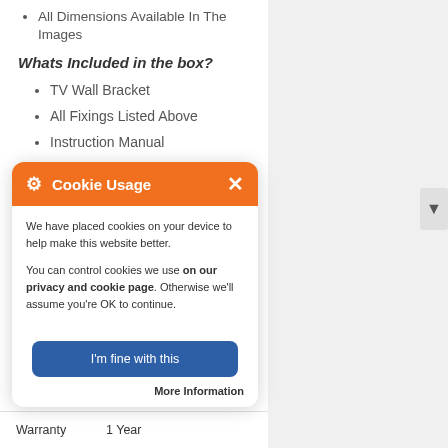All Dimensions Available In The Images
Whats Included in the box?
TV Wall Bracket
All Fixings Listed Above
Instruction Manual
[Figure (screenshot): Cookie Usage modal overlay with orange header, gear icon, close button, cookie consent text, 'I'm fine with this' blue button, and 'More Information' link]
| Warranty | 1 Year |
| --- | --- |